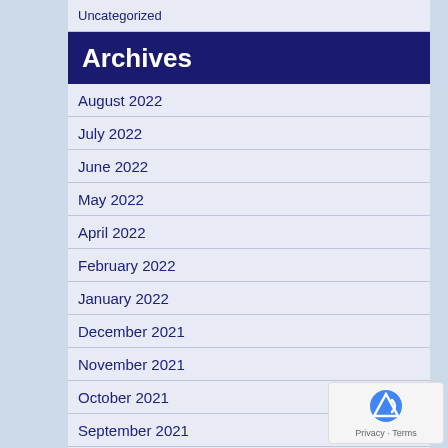Uncategorized
Archives
August 2022
July 2022
June 2022
May 2022
April 2022
February 2022
January 2022
December 2021
November 2021
October 2021
September 2021
August 2021
July 2021